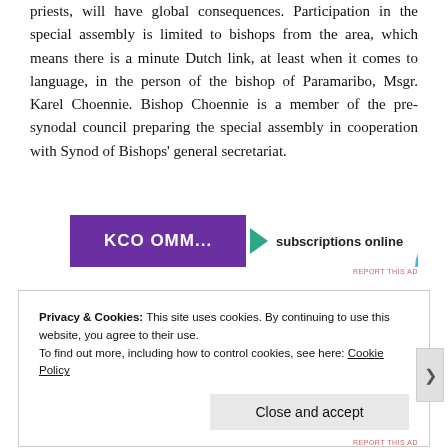priests, will have global consequences. Participation in the special assembly is limited to bishops from the area, which means there is a minute Dutch link, at least when it comes to language, in the person of the bishop of Paramaribo, Msgr. Karel Choennie. Bishop Choennie is a member of the pre-synodal council preparing the special assembly in cooperation with Synod of Bishops' general secretariat.
[Figure (other): Advertisement banner with purple background showing text and 'subscriptions online' with teal arrow and blue arc logo, with 'REPORT THIS AD' link]
Privacy & Cookies: This site uses cookies. By continuing to use this website, you agree to their use.
To find out more, including how to control cookies, see here: Cookie Policy
Close and accept